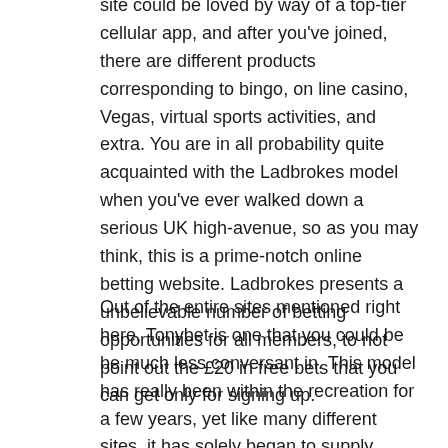site could be loved by way of a top-tier cellular app, and after you've joined, there are different products corresponding to bingo, on line casino, Vegas, virtual sports activities, and extra. You are in all probability quite acquainted with the Ladbrokes model when you've ever walked down a serious UK high-avenue, so as you may think, this is a prime-notch online betting website. Ladbrokes presents a unbelievable number of betting opportunities for all members, to not point out the £20 in free bets that you can get only for signing up.
Out of the entire sites mentioned right here, Tonybet is one that you could be be much less conversant in. This model has really been within the recreation for a few years, yet like many different sites, it has solely began to supply sports activities betting recently. It's not just sports activities betting that pulls punters to this web site both, for Tonybet also has fairly a substantial vary of